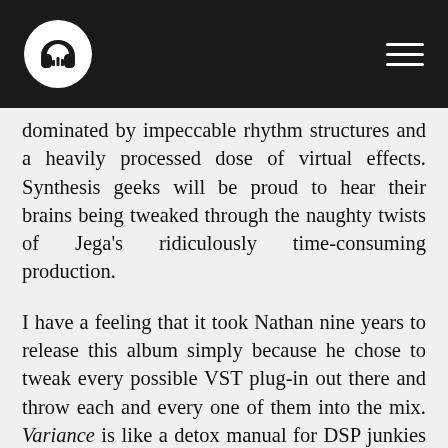[Music review site logo with headphones icon] [hamburger menu]
dominated by impeccable rhythm structures and a heavily processed dose of virtual effects. Synthesis geeks will be proud to hear their brains being tweaked through the naughty twists of Jega's ridiculously time-consuming production.

I have a feeling that it took Nathan nine years to release this album simply because he chose to tweak every possible VST plug-in out there and throw each and every one of them into the mix. Variance is like a detox manual for DSP junkies on a thousand ways to mess up the beat. Listening to Latinhypercube I find myself cringing my nose and going "What in the world was that?" Drilling rhythms decompose into voices, into flashbacks of a bad trip, into sick mental sound too crippled to dance. A few tracks (like Aerodynamic and